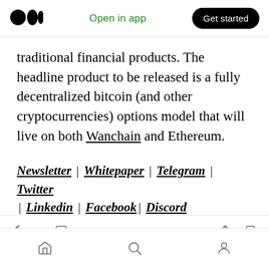Medium logo | Open in app | Get started
traditional financial products. The headline product to be released is a fully decentralized bitcoin (and other cryptocurrencies) options model that will live on both Wanchain and Ethereum.
Newsletter | Whitepaper | Telegram | Twitter | Linkedin | Facebook| Discord
105 claps, comment, share, bookmark actions; Home, Search, Profile navigation